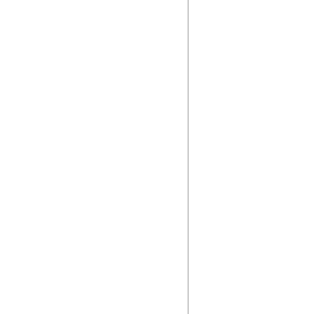nails PrideCleaner's Walden AceSaf